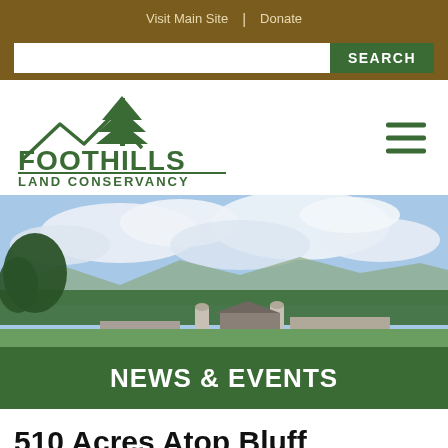Visit Main Site | Donate
[Figure (screenshot): Search bar with white input field and green SEARCH button on brown background]
[Figure (logo): Foothills Land Conservancy logo with mountain and tree graphic above the organization name]
[Figure (photo): Panoramic landscape photo showing a farm with silos and barn buildings, green tree canopy, mountains in the distance, and a partly cloudy blue sky]
NEWS & EVENTS
510 Acres Atop Bluff